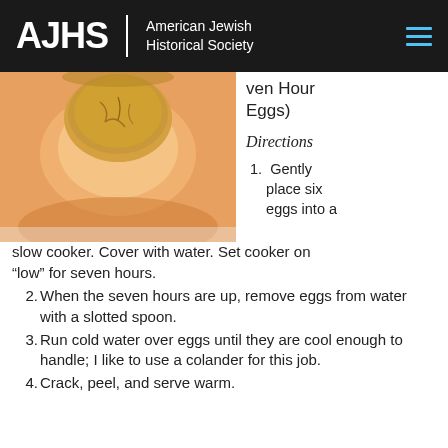AJHS | American Jewish Historical Society
[Figure (photo): Close-up photo of a hard-boiled egg showing the cross-section with yolk visible, orange/amber hue from slow cooking]
ven Hour Eggs)
Directions
1. Gently place six eggs into a slow cooker. Cover with water. Set cooker on “low” for seven hours.
2. When the seven hours are up, remove eggs from water with a slotted spoon.
3. Run cold water over eggs until they are cool enough to handle; I like to use a colander for this job.
4. Crack, peel, and serve warm.